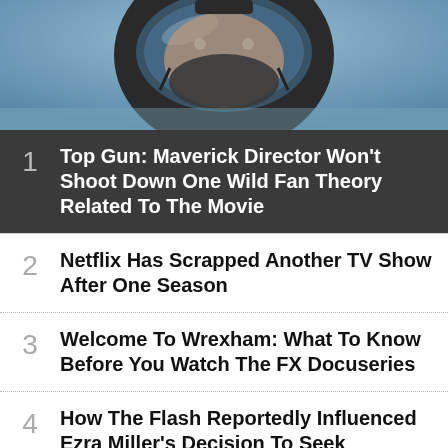[Figure (photo): Close-up photo of a pilot in a flight helmet and oxygen mask, slightly blurred background of sky]
1 Top Gun: Maverick Director Won't Shoot Down One Wild Fan Theory Related To The Movie
2 Netflix Has Scrapped Another TV Show After One Season
3 Welcome To Wrexham: What To Know Before You Watch The FX Docuseries
4 How The Flash Reportedly Influenced Ezra Miller's Decision To Seek Treatment
[Figure (photo): Advertisement banner for NFL Shop showing a red jersey, SHOP NOW button, text: Free shipping on orders over $25, www.nflshop.com]